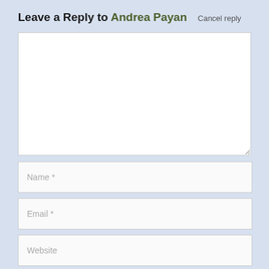Leave a Reply to Andrea Payan  Cancel reply
[Figure (screenshot): Web comment form with a large textarea for comment, fields for Name, Email, Website, and a Post Comment button]
Name *
Email *
Website
Post Comment